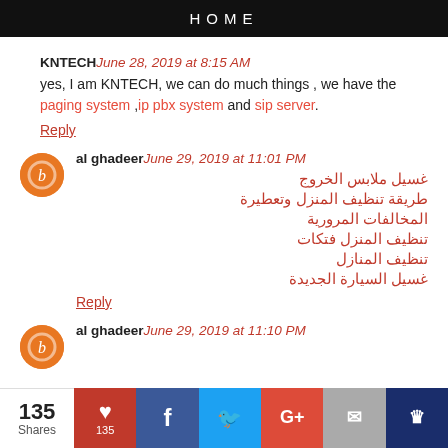HOME
KNTECH June 28, 2019 at 8:15 AM
yes, I am KNTECH, we can do much things , we have the paging system ,ip pbx system and sip server.
Reply
al ghadeer June 29, 2019 at 11:01 PM
غسيل ملابس الخروج
طريقة تنظيف المنزل وتعطيرة
المخالفات المرورية
تنظيف المنزل فتكات
تنظيف المنازل
غسيل السيارة الجديدة
Reply
al ghadeer June 29, 2019 at 11:10 PM